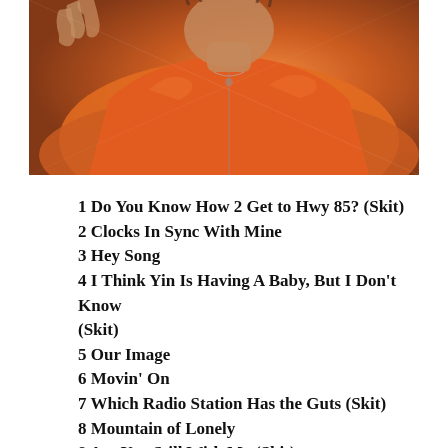[Figure (photo): Photo of a person wearing an orange jacket, raising one hand. Album cover or back cover image.]
1 Do You Know How 2 Get to Hwy 85? (Skit)
2 Clocks In Sync With Mine
3 Hey Song
4 I Think Yin Is Having A Baby, But I Don't Know (Skit)
5 Our Image
6 Movin' On
7 Which Radio Station Has the Guts (Skit)
8 Mountain of Lonely
9 Are You Still With Me (Skit)
10 Slave of It All
11 Leave a Message... Bye Bye (Skit)
12 Sumtimes I Do